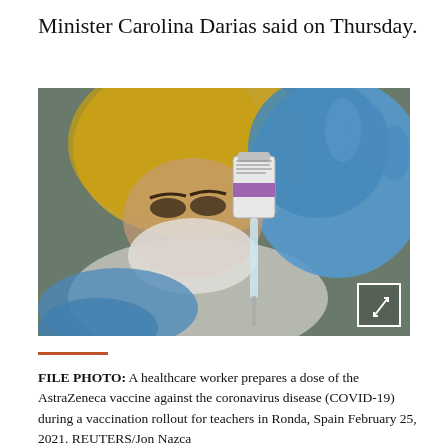Minister Carolina Darias said on Thursday.
[Figure (photo): A healthcare worker in blue gloves and yellow hair cap and white face mask holds a vial of AstraZeneca vaccine and a syringe, preparing a dose.]
FILE PHOTO: A healthcare worker prepares a dose of the AstraZeneca vaccine against the coronavirus disease (COVID-19) during a vaccination rollout for teachers in Ronda, Spain February 25, 2021. REUTERS/Jon Nazca